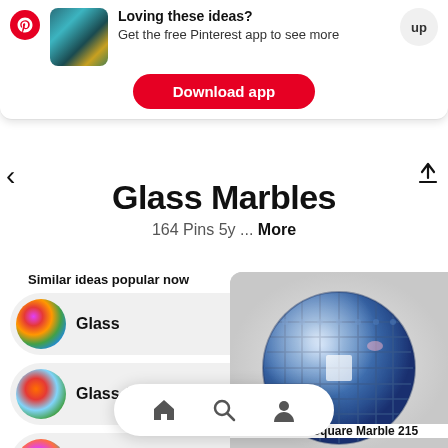Loving these ideas? Get the free Pinterest app to see more
Download app
Glass Marbles
164 Pins 5y ... More
Similar ideas popular now
Glass
Glass Art
Paperweight
Marble
[Figure (photo): Blue glass marble with grid/lattice pattern inside]
Don't Be Square Marble 215